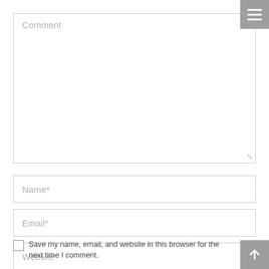[Figure (screenshot): Hamburger menu button (three horizontal white lines on grey background) in top-right corner]
Comment
Name*
Email*
Website
Save my name, email, and website in this browser for the next time I comment.
[Figure (screenshot): Scroll-to-top button (upward arrow on grey background) in bottom-right corner]